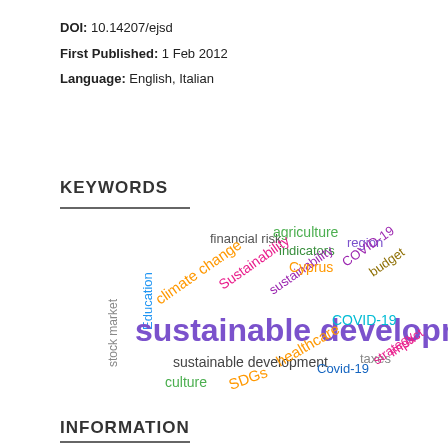DOI: 10.14207/ejsd
First Published: 1 Feb 2012
Language: English, Italian
KEYWORDS
[Figure (infographic): Word cloud showing keywords related to the journal. Largest text: 'sustainable development' (purple). Other terms: climate change (orange), Sustainability (pink), sustainability (purple), financial risk (dark gray), agriculture (green), indicators (green), Cyprus (orange), region (purple), COVID-19 (purple), budget (olive), Education (blue), stock market (gray), culture (green), sustainable development (smaller, dark gray), SDGs (orange), healthcare (orange), Covid-19 (blue), taxes (gray), strategy (pink), impact (pink), healthcare (orange)]
INFORMATION
For Readers